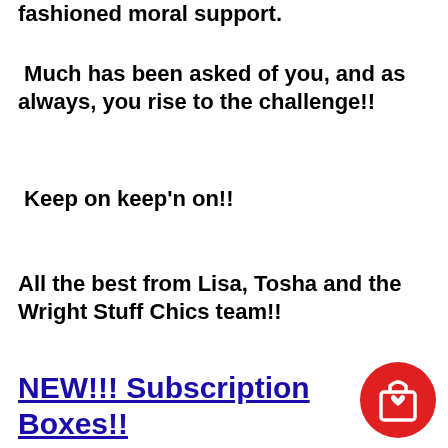fashioned moral support.
Much has been asked of you, and as always, you rise to the challenge!!
Keep on keep'n on!!
All the best from Lisa, Tosha and the Wright Stuff Chics team!!
NEW!!! Subscription Boxes!!